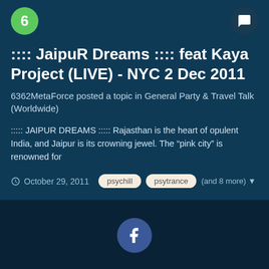:::: JaipuR Dreams :::: feat Kaya Project (LIVE) - NYC 2 Dec 2011
6362MetaForce posted a topic in General Party & Travel Talk (Worldwide)
::::: JAIPUR DREAMS ::::: Rajasthan is the heart of opulent India, and Jaipur is its crowning jewel. The “pink city” is renowned for
October 29, 2011  psychill  psytrance  (and 8 more)
[Figure (logo): Facebook logo icon - circular blue button with white 'f']
Theme ▾  Contact Us
Psyneks.org
Powered by Invision Community